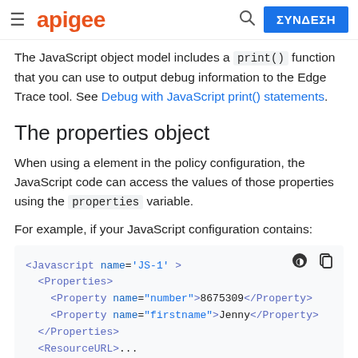apigee | ΣΥΝΔΕΣΗ
The JavaScript object model includes a print() function that you can use to output debug information to the Edge Trace tool. See Debug with JavaScript print() statements.
The properties object
When using a element in the policy configuration, the JavaScript code can access the values of those properties using the properties variable.
For example, if your JavaScript configuration contains:
<Javascript name='JS-1' >
  <Properties>
    <Property name="number">8675309</Property>
    <Property name="firstname">Jenny</Property>
  </Properties>